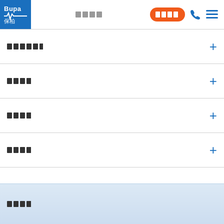[Figure (logo): Bupa 保柏 logo — blue square background with white Bupa text and heartbeat line, Chinese characters below]
□□□□ | □□□□ | ☎ | ≡
□□□□□□ +
□□□□ +
□□□□ +
□□□□ +
□□□□